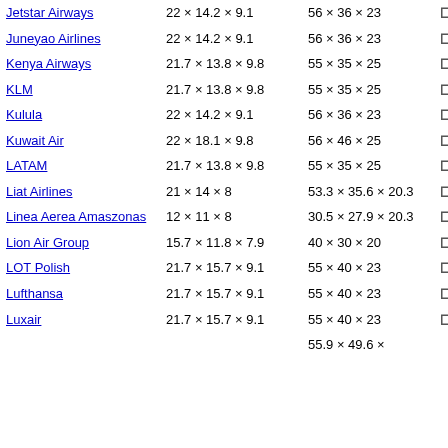| Airline | Carry-on (in) | Carry-on (cm) | Personal Item |
| --- | --- | --- | --- |
| Jetstar Airways | 22 × 14.2 × 9.1 | 56 × 36 × 23 | No |
| Juneyao Airlines | 22 × 14.2 × 9.1 | 56 × 36 × 23 | No |
| Kenya Airways | 21.7 × 13.8 × 9.8 | 55 × 35 × 25 | No |
| KLM | 21.7 × 13.8 × 9.8 | 55 × 35 × 25 | No |
| Kulula | 22 × 14.2 × 9.1 | 56 × 36 × 23 | No |
| Kuwait Air | 22 × 18.1 × 9.8 | 56 × 46 × 25 | Yes |
| LATAM | 21.7 × 13.8 × 9.8 | 55 × 35 × 25 | No |
| Liat Airlines | 21 × 14 × 8 | 53.3 × 35.6 × 20.3 | No |
| Linea Aerea Amaszonas | 12 × 11 × 8 | 30.5 × 27.9 × 20.3 | No |
| Lion Air Group | 15.7 × 11.8 × 7.9 | 40 × 30 × 20 | No |
| LOT Polish | 21.7 × 15.7 × 9.1 | 55 × 40 × 23 | No |
| Lufthansa | 21.7 × 15.7 × 9.1 | 55 × 40 × 23 | No |
| Luxair | 21.7 × 15.7 × 9.1 | 55 × 40 × 23 | No |